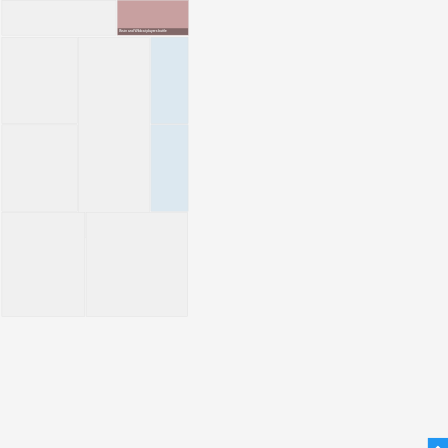[Figure (photo): Large mostly blank/white photo thumbnail, top left]
[Figure (photo): Sports action photo showing Bruin and Wildcat players battling, with caption overlay]
Bruin and Wildcat players battle
[Figure (photo): Photo thumbnail, middle row column 1]
[Figure (photo): Photo thumbnail, middle center tall column spanning two rows]
[Figure (photo): Photo thumbnail, middle row column 3 top, light blue tint]
[Figure (photo): Photo thumbnail, middle row 2 column 1]
[Figure (photo): Photo thumbnail, middle row 2 column 3, light blue tint]
[Figure (photo): Photo thumbnail, bottom left]
[Figure (photo): Photo thumbnail, bottom right]
[Figure (photo): Scroll to top button area, bottom right corner]